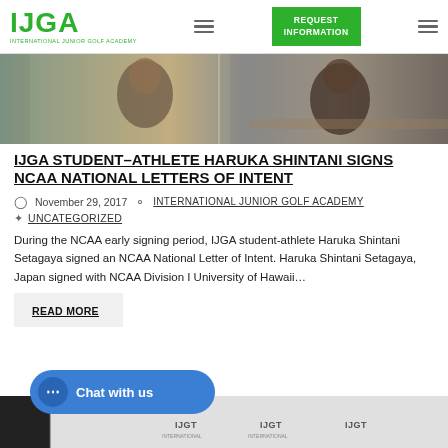IJGA — INTERNATIONAL JUNIOR GOLF ACADEMY | REQUEST INFORMATION
[Figure (photo): Two young male student-athletes, one smiling at the camera and one writing/signing a document, in an indoor setting.]
IJGA STUDENT-ATHLETE HARUKA SHINTANI SIGNS NCAA NATIONAL LETTERS OF INTENT
November 29, 2017  INTERNATIONAL JUNIOR GOLF ACADEMY
UNCATEGORIZED
During the NCAA early signing period, IJGA student-athlete Haruka Shintani Setagaya signed an NCAA National Letter of Intent. Haruka Shintani Setagaya, Japan signed with NCAA Division I University of Hawaii…
READ MORE
[Figure (photo): Bottom partial image showing IJGT logos on a white backdrop.]